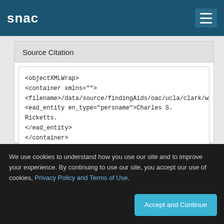snac
Source Citation
<objectXMLWrap>
<container xmlns="">
<filename>/data/source/findingAids/oac/ucla/clark/wildecorr.xml<
<ead_entity en_type="persname">Charles S. Ricketts.
</ead_entity>
</container>
</objectXMLWrap>
http://www.oac.cdlib.org/ark:/13030/kt9w1038gz
We use cookies to understand how you use our site and to improve your experience. By continuing to use our site, you accept our use of cookies, Privacy Policy and Terms of Use.